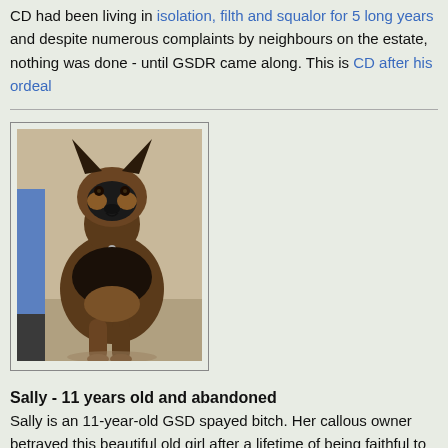CD had been living in isolation, filth and squalor for 5 long years and despite numerous complaints by neighbours on the estate, nothing was done - until GSDR came along. This is CD after his ordeal
[Figure (photo): A German Shepherd dog sitting, looking at the camera. Dark sable coloring with black and tan markings. A person in blue jeans stands behind the dog.]
Sally - 11 years old and abandoned
Sally is an 11-year-old GSD spayed bitch. Her callous owner betrayed this beautiful old girl after a lifetime of being faithful to